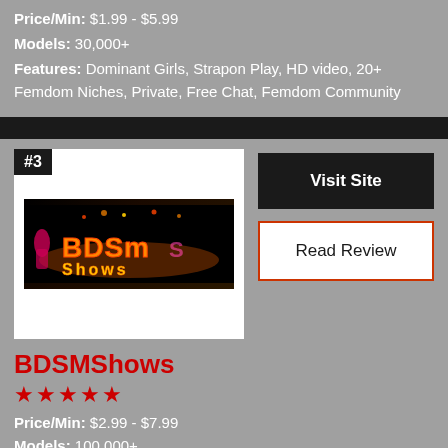Price/Min: $1.99 - $5.99
Models: 30,000+
Features: Dominant Girls, Strapon Play, HD video, 20+ Femdom Niches, Private, Free Chat, Femdom Community
[Figure (screenshot): BDSMShows logo banner on dark background with colorful graffiti-style text]
#3
Visit Site
Read Review
BDSMShows
★★★★★
Price/Min: $2.99 - $7.99
Models: 100,000+
Features: HD Video, Free Chat, Live Shows, Secure, No Paywall, 50+ Niches, Private Chat